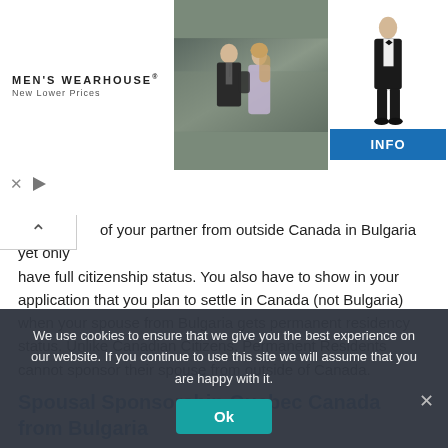[Figure (photo): Men's Wearhouse advertisement banner featuring a couple in formal wear and a man in a tuxedo, with INFO button]
of your partner from outside Canada in Bulgaria yet only have full citizenship status. You also have to show in your application that you plan to settle in Canada (not Bulgaria) when your spouse from Bulgaria gets permanent residency status. Unlike Canadian Citizens, Permanent Residents cannot sponsor their spouse from outside of Canada.
Spousal Sponsorship Quebec Canada from Bulgaria
If you live in Quebec, you have to fulfill certain eligibility requirements for Quebec as well as at the Federal level. You can find out more at the Quebec government website.
Financial Requirements for Spousal
We use cookies to ensure that we give you the best experience on our website. If you continue to use this site we will assume that you are happy with it.